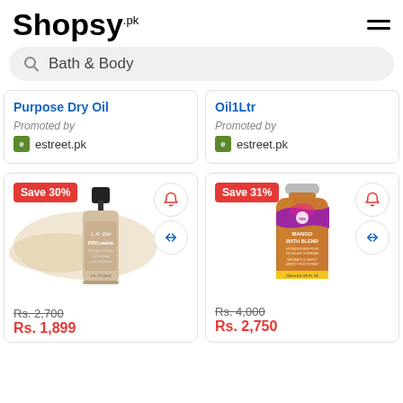[Figure (logo): Shopsy.pk logo in script font]
Bath & Body (search bar)
Purpose Dry Oil
Promoted by
estreet.pk
Oil1Ltr
Promoted by
estreet.pk
[Figure (photo): L.A. Girl PRO.matte HD foundation bottle, Save 30% badge]
Rs. 2,700
Rs. 1,890
[Figure (photo): The Body Shop Mango Bath Blend bottle 250ml, Save 31% badge]
Rs. 4,000
Rs. 2,750